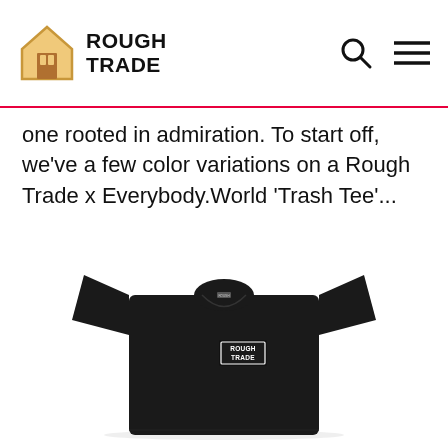Rough Trade
one rooted in admiration. To start off, we've a few color variations on a Rough Trade x Everybody.World 'Trash Tee'...
[Figure (photo): Black t-shirt with small white 'Rough Trade' logo printed on the left chest area, displayed flat on a white background.]